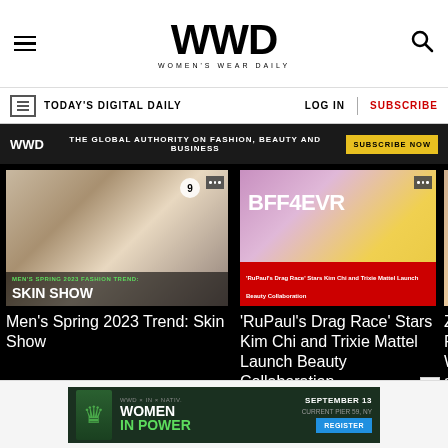WWD — Women's Wear Daily
TODAY'S DIGITAL DAILY | LOG IN | SUBSCRIBE
WWD — THE GLOBAL AUTHORITY ON FASHION, BEAUTY AND BUSINESS — SUBSCRIBE NOW
[Figure (photo): Men's Spring 2023 Fashion Trend: Skin Show — male model on runway showing skin]
Men's Spring 2023 Trend: Skin Show
[Figure (photo): RuPaul's Drag Race stars Kim Chi and Trixie Mattel posing together, BFF4EVR beauty collaboration launch]
'RuPaul's Drag Race' Stars Kim Chi and Trixie Mattel Launch Beauty Collaboration
[Figure (photo): Partial third article card visible at right edge]
[Figure (infographic): WWD x IN x NATIV — Women in Power event ad — September 13, Current Pier 59, NY — Register button — chess queen piece graphic]